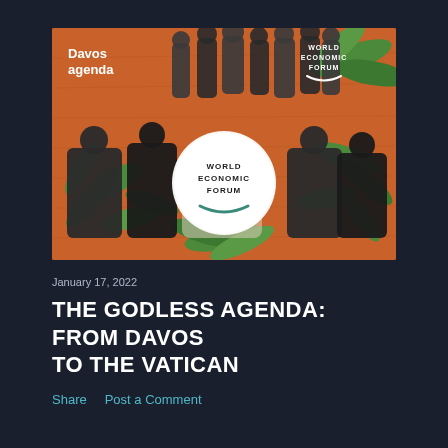[Figure (photo): World Economic Forum 'Davos Agenda' promotional image on an orange background featuring black-and-white cutout figures of various world leaders and public figures seated and standing around a central white circle with the World Economic Forum logo. Green tropical leaves are scattered throughout. 'Davos agenda' text appears in white at the top left, and 'World Economic Forum' logo appears at the top right.]
January 17, 2022
THE GODLESS AGENDA: FROM DAVOS TO THE VATICAN
Share    Post a Comment